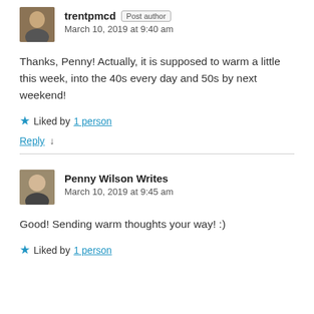trentpmcd  Post author
March 10, 2019 at 9:40 am
Thanks, Penny! Actually, it is supposed to warm a little this week, into the 40s every day and 50s by next weekend!
Liked by 1 person
Reply ↓
Penny Wilson Writes
March 10, 2019 at 9:45 am
Good! Sending warm thoughts your way! :)
Liked by 1 person